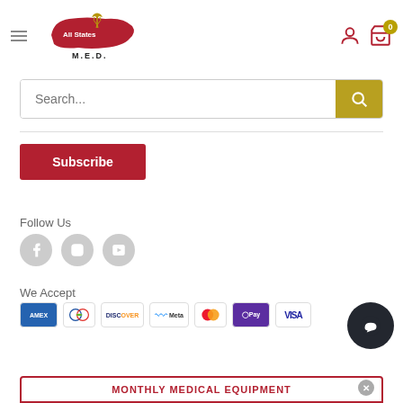[Figure (logo): All States M.E.D. logo with US map and caduceus symbol]
Search...
Subscribe
Follow Us
[Figure (illustration): Facebook, Instagram, YouTube social media icons in grey circles]
We Accept
[Figure (illustration): Payment method icons: AMEX, Diners Club, Discover, Meta Pay, Mastercard, Apple Pay, VISA]
MONTHLY MEDICAL EQUIPMENT